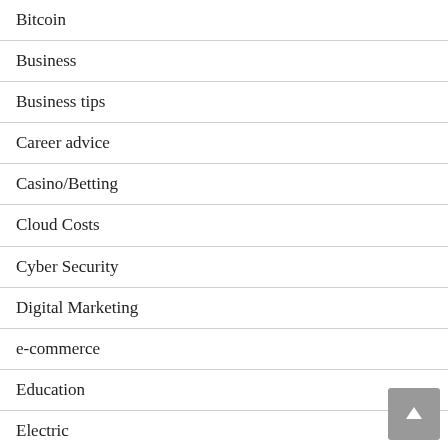Bitcoin
Business
Business tips
Career advice
Casino/Betting
Cloud Costs
Cyber Security
Digital Marketing
e-commerce
Education
Electric
Electrical
Entertenment
Fashion